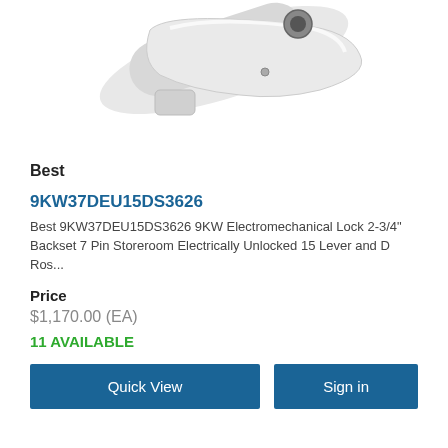[Figure (photo): Product photo of a white electromechanical door lock/lever handle with keyway, partially cropped at top]
Best
9KW37DEU15DS3626
Best 9KW37DEU15DS3626 9KW Electromechanical Lock 2-3/4" Backset 7 Pin Storeroom Electrically Unlocked 15 Lever and D Ros...
Price
$1,170.00 (EA)
11 AVAILABLE
Quick View
Sign in